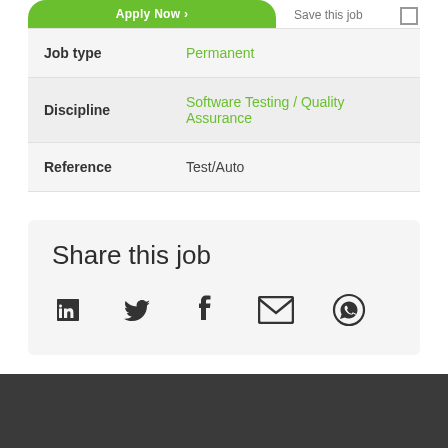[Figure (screenshot): Partial Apply Now button in green at top of page]
| Job type | Permanent |
| Discipline | Software Testing / Quality Assurance |
| Reference | Test/Auto |
Share this job
[Figure (infographic): Social share icons: LinkedIn, Twitter, Facebook, Email, WhatsApp]
Dark footer bar